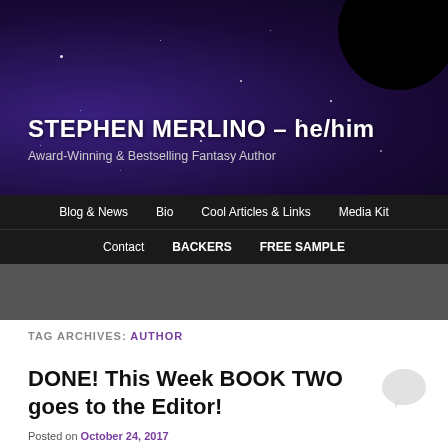STEPHEN MERLINO – he/him
Award-Winning & Bestselling Fantasy Author
Blog & News  Bio  Cool Articles & Links  Media Kit  Contact  BACKERS  FREE SAMPLE
TAG ARCHIVES: AUTHOR
DONE! This Week BOOK TWO goes to the Editor!
Posted on October 24, 2017
[Figure (photo): Stacked newspapers photo]